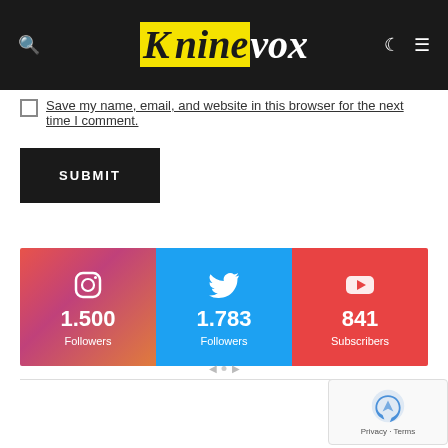Kninevox
Save my name, email, and website in this browser for the next time I comment.
SUBMIT
[Figure (infographic): Social media stats bar: Instagram 1.500 Followers, Twitter 1.783 Followers, YouTube 841 Subscribers]